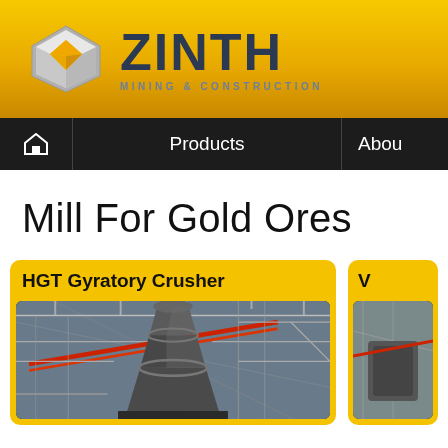[Figure (logo): ZINTH Mining & Construction company logo with geometric diamond/cube icon in silver and gold, company name in dark blue bold text, subtitle 'MINING & CONSTRUCTION' in smaller text]
Products | About
Mill For Gold Ores
HGT Gyratory Crusher
[Figure (photo): Industrial gyratory crusher machine in a factory/mining facility, showing the large cone-shaped crusher with steel structure and red pipes in background]
[Figure (photo): Partial view of another industrial machine or product card cut off at right edge]